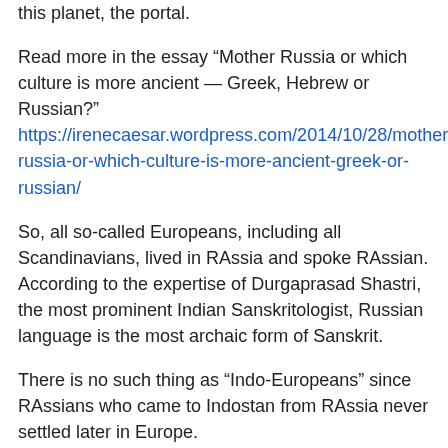this planet, the portal.
Read more in the essay “Mother Russia or which culture is more ancient — Greek, Hebrew or Russian?” https://irenecaesar.wordpress.com/2014/10/28/mother-russia-or-which-culture-is-more-ancient-greek-or-russian/
So, all so-called Europeans, including all Scandinavians, lived in RAssia and spoke RAssian. According to the expertise of Durgaprasad Shastri, the most prominent Indian Sanskritologist, Russian language is the most archaic form of Sanskrit.
There is no such thing as “Indo-Europeans” since RAssians who came to Indostan from RAssia never settled later in Europe.
On the contrary, RAssians were those “Gods on Vimanas”